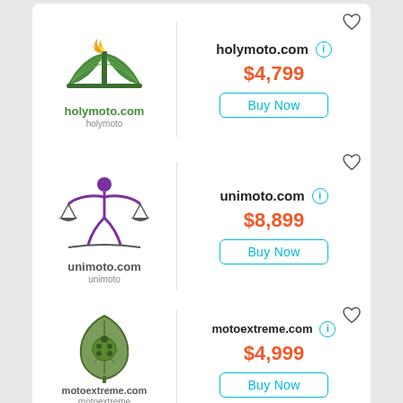[Figure (logo): holymoto.com logo with green open book and flame icon]
holymoto.com
$4,799
Buy Now
[Figure (logo): unimoto.com logo with purple balance scales figure]
unimoto.com
$8,899
Buy Now
[Figure (logo): motoextreme.com logo with green leaf/bug motif]
motoextreme.com
$4,999
Buy Now